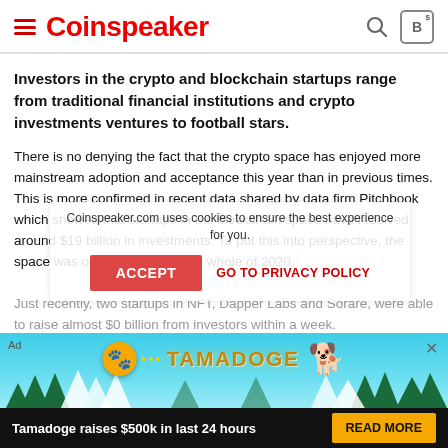Coinspeaker
Investors in the crypto and blockchain startups range from traditional financial institutions and crypto investments ventures to football stars.
There is no denying the fact that the crypto space has enjoyed more mainstream adoption and acceptance this year than in previous times. This is more confirmed in recent data shared by data firm Pitchbook which showed that startups in the blockchain space have received around $19 billion in investments. To put this into perspective, the space was only third behind the whole of 2020.
Just recently, two startups in NFT, Dapper Labs and Sorare, were able to raise almost $0 billion from investors within a week.
According to our report, Dapper Labs, the team behind the popular
[Figure (screenshot): Cookie consent overlay with ACCEPT button and GO TO PRIVACY POLICY link]
[Figure (infographic): Tamadoge advertisement banner with logo, dog mascot, trees background, and READ MORE button. Text: Tamadoge raises $500k in last 24 hours]